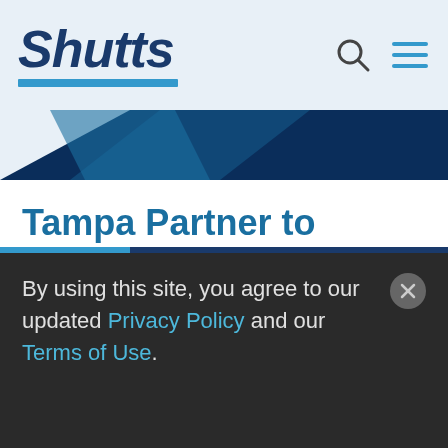[Figure (logo): Shutts law firm logo with blue underline, search icon, and hamburger menu icon in a light blue-grey header bar]
[Figure (illustration): Dark navy blue angular geometric banner beneath the header]
Tampa Partner to Present at Construction Law Institute
3.7.19
[Figure (illustration): PDF icon and share/reply arrow icon]
By using this site, you agree to our updated Privacy Policy and our Terms of Use.